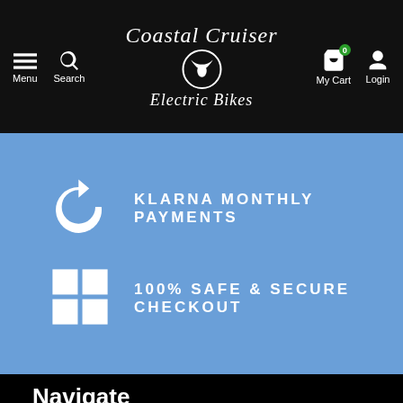Coastal Cruiser Electric Bikes — Menu, Search, My Cart (0), Login
[Figure (infographic): Blue promotional banner with two rows: (1) Klarna return arrow icon with text KLARNA MONTHLY PAYMENTS, (2) Windows grid icon with text 100% SAFE & SECURE CHECKOUT]
Navigate
About Us
Contact Us
Shipping-Returns-Warranty